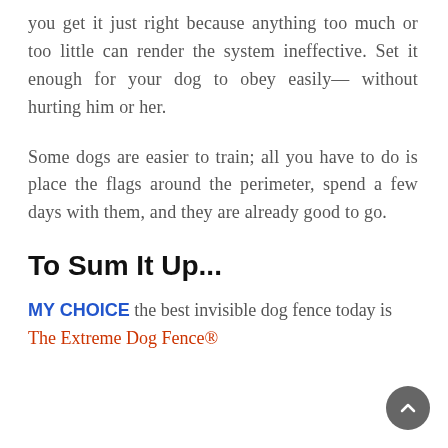you get it just right because anything too much or too little can render the system ineffective. Set it enough for your dog to obey easily— without hurting him or her.
Some dogs are easier to train; all you have to do is place the flags around the perimeter, spend a few days with them, and they are already good to go.
To Sum It Up...
MY CHOICE the best invisible dog fence today is The Extreme Dog Fence®